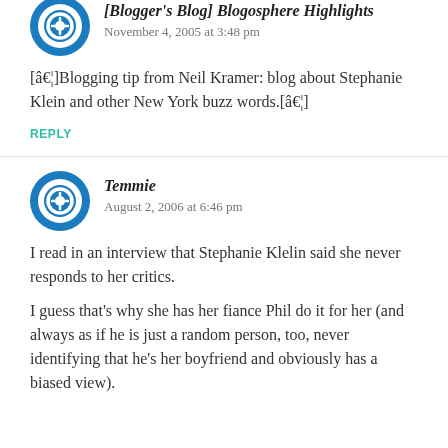[Blogger's Blog] Blogosphere Highlights
November 4, 2005 at 3:48 pm
[â€¦]Blogging tip from Neil Kramer: blog about Stephanie Klein and other New York buzz words.[â€¦]
REPLY
Temmie
August 2, 2006 at 6:46 pm
I read in an interview that Stephanie Klelin said she never responds to her critics.
I guess that's why she has her fiance Phil do it for her (and always as if he is just a random person, too, never identifying that he's her boyfriend and obviously has a biased view).